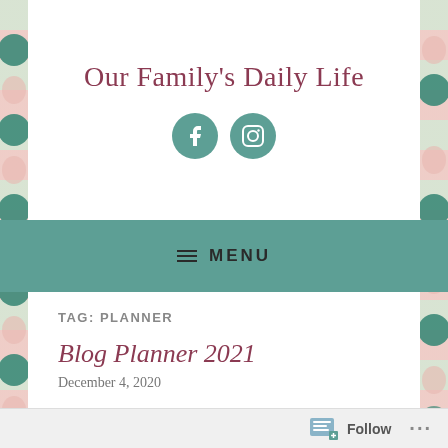Our Family's Daily Life
[Figure (illustration): Two teal circular social media icon buttons: Facebook and Instagram]
≡ MENU
TAG: PLANNER
Blog Planner 2021
December 4, 2020
Follow ...